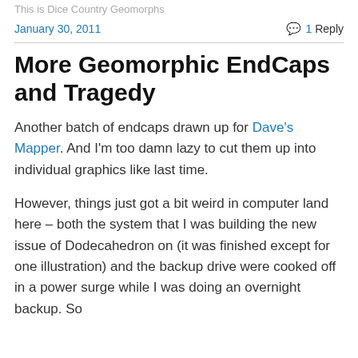This is Dice Country Geomorphs
January 30, 2011
1 Reply
More Geomorphic EndCaps and Tragedy
Another batch of endcaps drawn up for Dave's Mapper. And I'm too damn lazy to cut them up into individual graphics like last time.
However, things just got a bit weird in computer land here – both the system that I was building the new issue of Dodecahedron on (it was finished except for one illustration) and the backup drive were cooked off in a power surge while I was doing an overnight backup. So